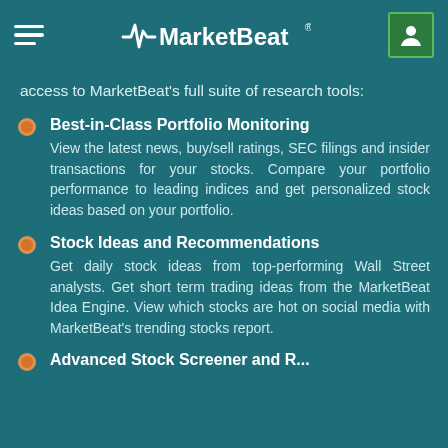MarketBeat
access to MarketBeat's full suite of research tools:
Best-in-Class Portfolio Monitoring — View the latest news, buy/sell ratings, SEC filings and insider transactions for your stocks. Compare your portfolio performance to leading indices and get personalized stock ideas based on your portfolio.
Stock Ideas and Recommendations — Get daily stock ideas from top-performing Wall Street analysts. Get short term trading ideas from the MarketBeat Idea Engine. View which stocks are hot on social media with MarketBeat's trending stocks report.
Advanced Stock Screener and Research...